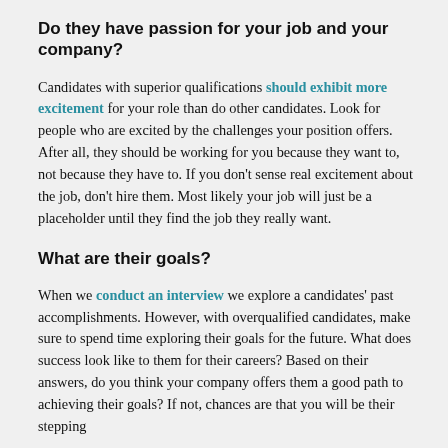Do they have passion for your job and your company?
Candidates with superior qualifications should exhibit more excitement for your role than do other candidates. Look for people who are excited by the challenges your position offers. After all, they should be working for you because they want to, not because they have to. If you don't sense real excitement about the job, don't hire them. Most likely your job will just be a placeholder until they find the job they really want.
What are their goals?
When we conduct an interview we explore a candidates' past accomplishments. However, with overqualified candidates, make sure to spend time exploring their goals for the future. What does success look like to them for their careers? Based on their answers, do you think your company offers them a good path to achieving their goals? If not, chances are that you will be their stepping